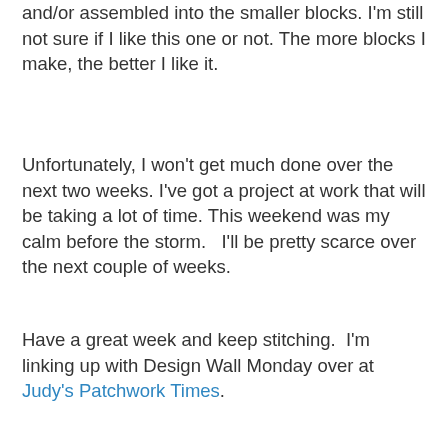and/or assembled into the smaller blocks. I'm still not sure if I like this one or not. The more blocks I make, the better I like it.
Unfortunately, I won't get much done over the next two weeks. I've got a project at work that will be taking a lot of time. This weekend was my calm before the storm. I'll be pretty scarce over the next couple of weeks.
Have a great week and keep stitching. I'm linking up with Design Wall Monday over at Judy's Patchwork Times.
Kate at 6:10 AM    10 comments:
Share
Sunday, April 12, 2015
Week 15 of 2015: Stash Report and